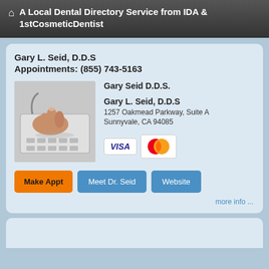🏠 A Local Dental Directory Service from IDA & 1stCosmeticDentist
Gary L. Seid, D.D.S
Appointments: (855) 743-5163
[Figure (photo): A hand typing on a telephone keypad]
Gary Seid D.D.S.
Gary L. Seid, D.D.S
1257 Oakmead Parkway, Suite A
Sunnyvale, CA 94085
[Figure (logo): VISA and MasterCard payment logos]
Make Appt   Meet Dr. Seid   Website
more info ...